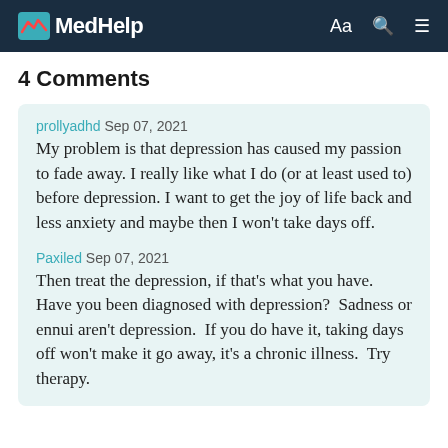MedHelp
4 Comments
prollyadhd Sep 07, 2021
My problem is that depression has caused my passion to fade away. I really like what I do (or at least used to) before depression. I want to get the joy of life back and less anxiety and maybe then I won't take days off.
Paxiled Sep 07, 2021
Then treat the depression, if that's what you have.  Have you been diagnosed with depression?  Sadness or ennui aren't depression.  If you do have it, taking days off won't make it go away, it's a chronic illness.  Try therapy.